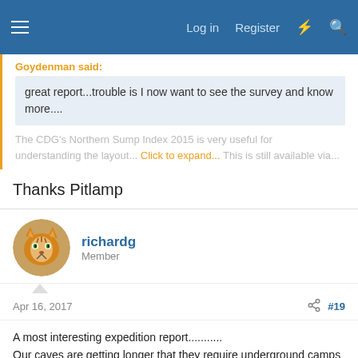Log in  Register
Goydenman said:
great report...trouble is I now want to see the survey and know more....
The CDG's Northern Sump Index 2015 is very useful for understanding the layout... Click to expand... This is still available via...
Thanks Pitlamp
richardg
Member
Apr 16, 2017
#19
A most interesting expedition report...........
Our caves are getting longer that they require underground camps to facilitate their exploration.....
Thank you for sharing this inspirational? write up...